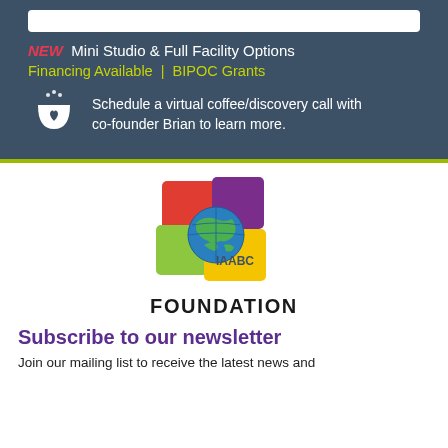[Figure (infographic): Dark blue-grey ad banner with white top bar, NEW label in red italic bold, text about Mini Studio & Full Facility Options, Financing Available | BIPOC Grants in yellow-green, and coffee cup icon with text about scheduling a virtual coffee/discovery call with co-founder Brian.]
NEW  Mini Studio & Full Facility Options
Financing Available  |  BIPOC Grants
Schedule a virtual coffee/discovery call with co-founder Brian to learn more.
[Figure (logo): IAABC Foundation logo with colorful squares (red, purple, green, yellow) and a globe in the center, text IAABC FOUNDATION below.]
Subscribe to our newsletter
Join our mailing list to receive the latest news and